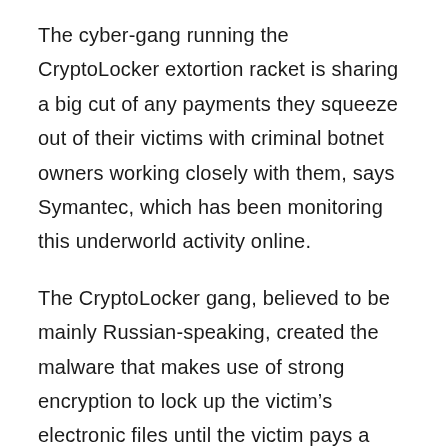The cyber-gang running the CryptoLocker extortion racket is sharing a big cut of any payments they squeeze out of their victims with criminal botnet owners working closely with them, says Symantec, which has been monitoring this underworld activity online.
The CryptoLocker gang, believed to be mainly Russian-speaking, created the malware that makes use of strong encryption to lock up the victim’s electronic files until the victim pays a ransom, which typically starts at least $150 to get the key to unlock their scrambled files. The gang itself is paying criminal botnet owners operating vast command-and-control systems of compromised computers to distribute CryptoLocker as a dangerous attachment in spam